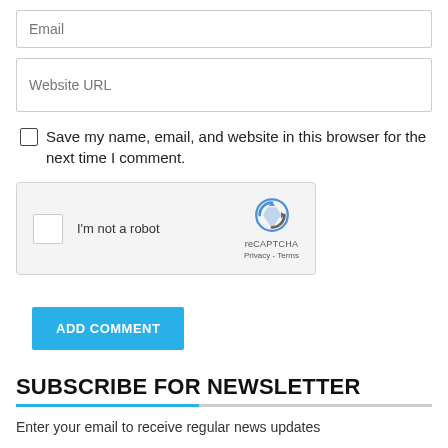Email
Website URL
Save my name, email, and website in this browser for the next time I comment.
[Figure (other): reCAPTCHA widget with checkbox labeled 'I'm not a robot', Google reCAPTCHA logo, Privacy and Terms links]
ADD COMMENT
SUBSCRIBE FOR NEWSLETTER
Enter your email to receive regular news updates